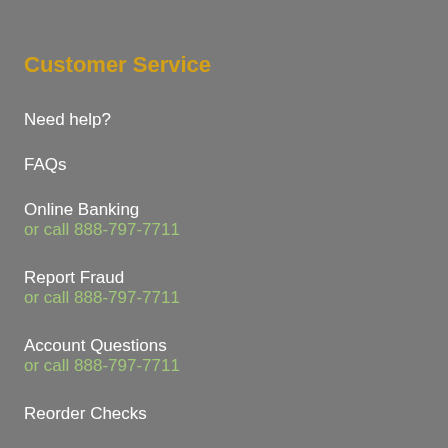Customer Service
Need help?
FAQs
Online Banking
or call 888-797-7711
Report Fraud
or call 888-797-7711
Account Questions
or call 888-797-7711
Reorder Checks
Products
Personal Checking